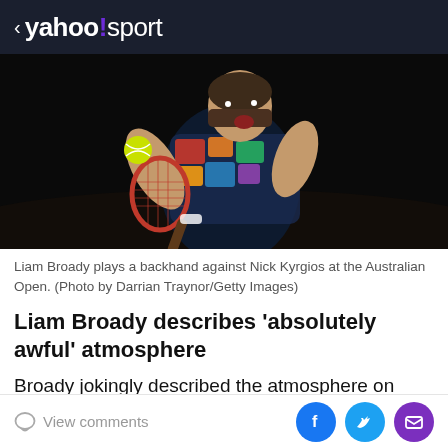< yahoo!sport
[Figure (photo): Liam Broady hitting a backhand shot with a red tennis racket against a dark background, wearing a colorful patterned shirt, at the Australian Open.]
Liam Broady plays a backhand against Nick Kyrgios at the Australian Open. (Photo by Darrian Traynor/Getty Images)
Liam Broady describes 'absolutely awful' atmosphere
Broady jokingly described the atmosphere on John Cain Arena as "absolutely awful"